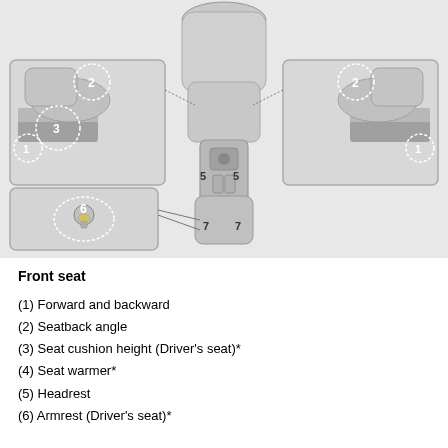[Figure (schematic): Diagram of front seat adjustment controls showing numbered callouts: (1) forward/backward levers on sides, (2) seatback angle controls, (3) seat cushion height on driver side, (5) headrest adjusters (two), (6) armrest detail inset, (7) lumbar adjusters. Top view and close-up insets of a vehicle seat are shown with dotted circle callout markers.]
Front seat
(1) Forward and backward
(2) Seatback angle
(3) Seat cushion height (Driver’s seat)*
(4) Seat warmer*
(5) Headrest
(6) Armrest (Driver’s seat)*